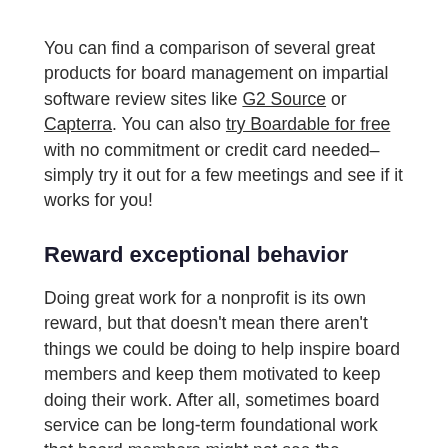You can find a comparison of several great products for board management on impartial software review sites like G2 Source or Capterra. You can also try Boardable for free with no commitment or credit card needed– simply try it out for a few meetings and see if it works for you!
Reward exceptional behavior
Doing great work for a nonprofit is its own reward, but that doesn't mean there aren't things we could be doing to help inspire board members and keep them motivated to keep doing their work. After all, sometimes board service can be long-term foundational work that board members might not see the immediate results of. It never